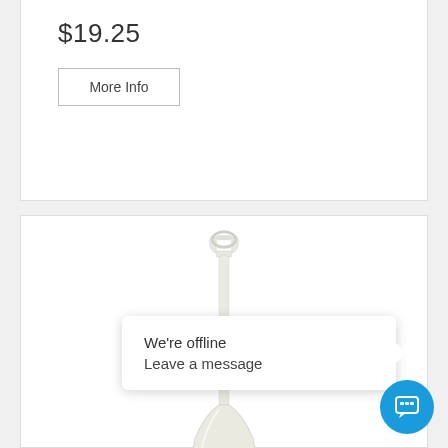$19.25
More Info
[Figure (photo): White plastic grain shovel with D-grip handle on white background]
Plastic Grain Shovel White
$29.75
We're offline
Leave a message